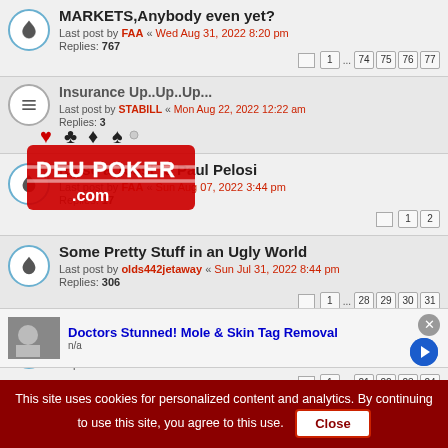MARKETS,Anybody even yet?
Last post by FAA « Wed Aug 31, 2022 8:20 pm
Replies: 767
Pages: 1 ... 74 75 76 77
Insurance Up..Up..Up...
Last post by STABILL « Mon Aug 22, 2022 12:22 am
Replies: 3
Raise a Toast to Paul Pelosi
Last post by FAA « Sun Aug 07, 2022 3:44 pm
Replies: 17
Pages: 1 2
Some Pretty Stuff in an Ugly World
Last post by olds442jetaway « Sun Jul 31, 2022 8:44 pm
Replies: 306
Pages: 1 ... 28 29 30 31
Cartoons
Last post by FAA « Mon Jul 25, 2022 6:45 pm
Replies: 236
Pages: 1 ... 21 22 23 24
Phil Hellmuth
[Figure (logo): Deu Poker watermark overlay logo with playing card suits]
Doctors Stunned! Mole & Skin Tag Removal
n/a
This site uses cookies for personalized content and analytics. By continuing to use this site, you agree to this use. Close